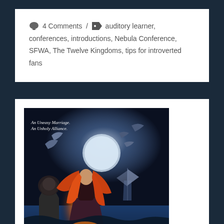4 Comments / auditory learner, conferences, introductions, Nebula Conference, SFWA, The Twelve Kingdoms, tips for introverted fans
[Figure (illustration): Book cover showing a woman with long red flowing hair wearing a dark dress, standing dramatically against a stormy fantasy background with dragons/birds flying, a sailing ship, a lion statue, and a full moon. Text on cover reads 'An Uneasy Marriage. An Unholy Alliance.' at top and 'THE FATE' partially visible at bottom.]